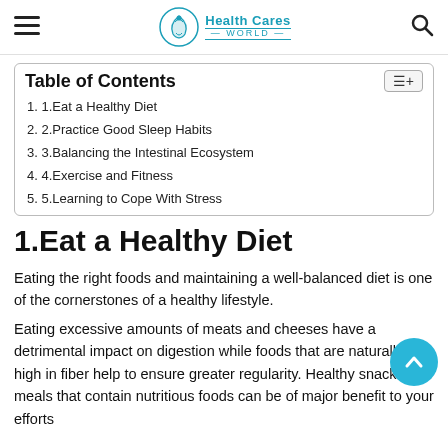Health Cares World
| Table of Contents |
| --- |
| 1. 1.Eat a Healthy Diet |
| 2. 2.Practice Good Sleep Habits |
| 3. 3.Balancing the Intestinal Ecosystem |
| 4. 4.Exercise and Fitness |
| 5. 5.Learning to Cope With Stress |
1.Eat a Healthy Diet
Eating the right foods and maintaining a well-balanced diet is one of the cornerstones of a healthy lifestyle.
Eating excessive amounts of meats and cheeses have a detrimental impact on digestion while foods that are naturally high in fiber help to ensure greater regularity. Healthy snacks and meals that contain nutritious foods can be of major benefit to your efforts